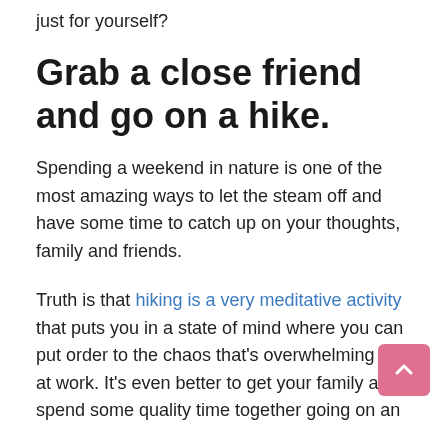just for yourself?
Grab a close friend and go on a hike.
Spending a weekend in nature is one of the most amazing ways to let the steam off and have some time to catch up on your thoughts, family and friends.
Truth is that hiking is a very meditative activity that puts you in a state of mind where you can put order to the chaos that's overwhelming you at work. It's even better to get your family and spend some quality time together going on an